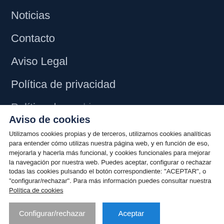Noticias
Contacto
Aviso Legal
Política de privacidad
Política de cookies (partially visible)
Aviso de cookies
Utilizamos cookies propias y de terceros, utilizamos cookies analíticas para entender cómo utilizas nuestra página web, y en función de eso, mejorarla y hacerla más funcional, y cookies funcionales para mejorar la navegación por nuestra web. Puedes aceptar, configurar o rechazar todas las cookies pulsando el botón correspondiente: "ACEPTAR", o "configurar/rechazar". Para más información puedes consultar nuestra Política de cookies
Configurar/rechazar
Aceptar